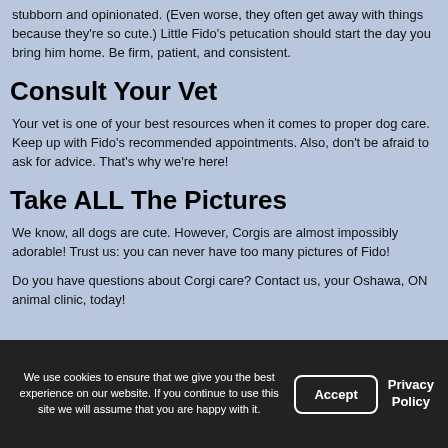stubborn and opinionated. (Even worse, they often get away with things because they're so cute.) Little Fido's petucation should start the day you bring him home. Be firm, patient, and consistent.
Consult Your Vet
Your vet is one of your best resources when it comes to proper dog care. Keep up with Fido's recommended appointments. Also, don't be afraid to ask for advice. That's why we're here!
Take ALL The Pictures
We know, all dogs are cute. However, Corgis are almost impossibly adorable! Trust us: you can never have too many pictures of Fido!
Do you have questions about Corgi care? Contact us, your Oshawa, ON animal clinic, today!
We use cookies to ensure that we give you the best experience on our website. If you continue to use this site we will assume that you are happy with it.  Accept  Privacy Policy